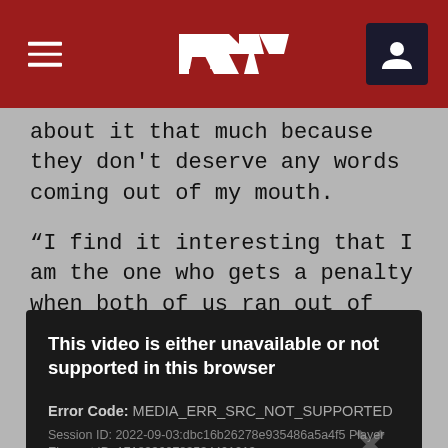F1 navigation header with hamburger menu and user icon
about it that much because they don't deserve any words coming out of my mouth.
“I find it interesting that I am the one who gets a penalty when both of us ran out of the white lines,” he added. “In Brazil it was fine but suddenly I get a penalty for it; you could see both of us didn’t make the corner. But it’s fine, I also don’t really spend too much time on it. We have to move forward.”
[Figure (other): Video player error box with dark background showing: 'This video is either unavailable or not supported in this browser', Error Code: MEDIA_ERR_SRC_NOT_SUPPORTED, Session ID: 2022-09-03:dbc16b26278e935486a5a4f5 Player Element ID: 17183360783534401213]